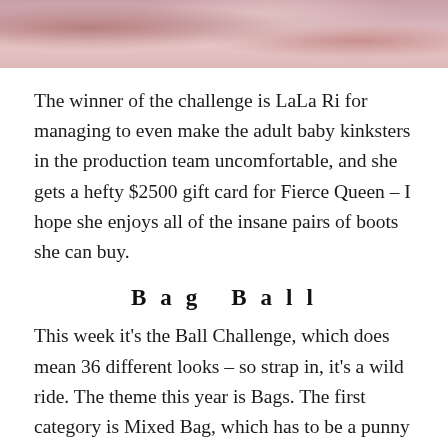[Figure (photo): Top portion of a photo showing pink ruffled fabric or costume material, cropped at top of page]
The winner of the challenge is LaLa Ri for managing to even make the adult baby kinksters in the production team uncomfortable, and she gets a hefty $2500 gift card for Fierce Queen – I hope she enjoys all of the insane pairs of boots she can buy.
Bag Ball
This week it's the Ball Challenge, which does mean 36 different looks – so strap in, it's a wild ride. The theme this year is Bags. The first category is Mixed Bag, which has to be a punny title involving the word bag in the description. The second is Miss Moneybags which is essentially Executive Realness repackaged. And lastly we have the Handmade Bags in which the queens have to create a look made entirely out of this